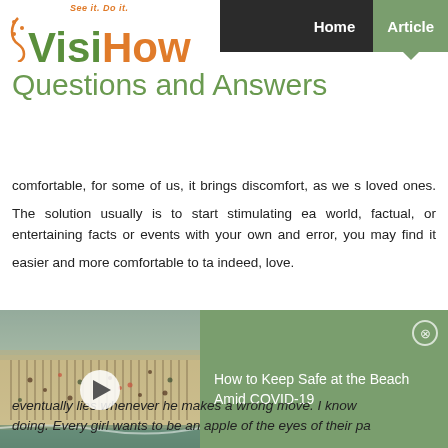[Figure (logo): VisiHow logo with tagline 'See it. Do it.' in orange italic, 'Visi' in green and 'How' in orange large bold text]
Home  Articles
Questions and Answers
comfortable, for some of us, it brings discomfort, as we s... loved ones. The solution usually is to start stimulating ea... world, factual, or entertaining facts or events with your own... and error, you may find it easier and more comfortable to ta... indeed, love.
[Figure (screenshot): Video thumbnail showing aerial beach scene with a play button overlay, alongside green panel with text 'How to Keep Safe at the Beach Amid COVID-19' and a close button]
eventually lies whenever he makes a wrong move. I know... doing. Every girl wants to be an apple of the eyes of their pa...